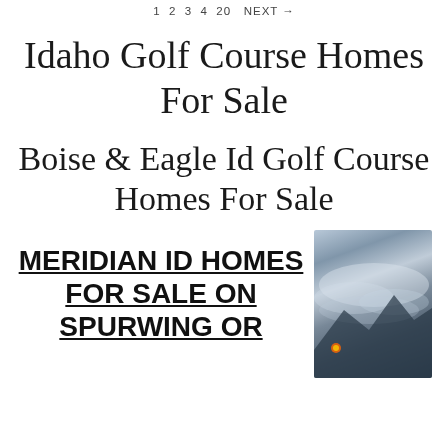1  2  3  4  20  NEXT →
Idaho Golf Course Homes For Sale
Boise & Eagle Id Golf Course Homes For Sale
MERIDIAN ID HOMES FOR SALE ON SPURWING OR
[Figure (photo): Misty mountain/sky landscape photo with text 'BoiseReloca' visible vertically along the right side]